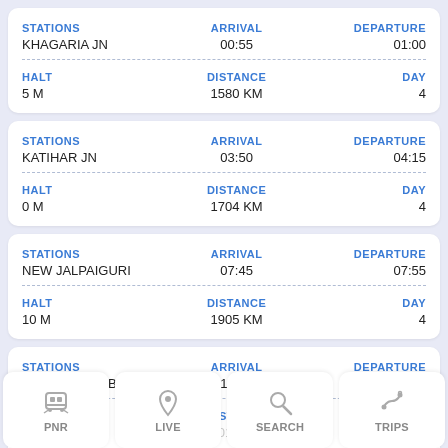| STATIONS | ARRIVAL | DEPARTURE | HALT | DISTANCE | DAY |
| --- | --- | --- | --- | --- | --- |
| KHAGARIA JN | 00:55 | 01:00 | 5 M | 1580 KM | 4 |
| KATIHAR JN | 03:50 | 04:15 | 0 M | 1704 KM | 4 |
| NEW JALPAIGURI | 07:45 | 07:55 | 10 M | 1905 KM | 4 |
| NEW COOCH BEHAR | 10:00 | 10:05 | 5 M | 2011 KM | 4 |